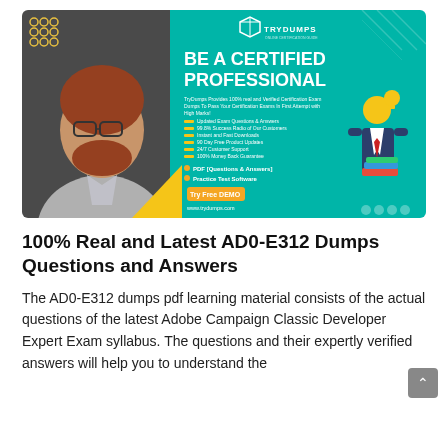[Figure (screenshot): TryDumps promotional banner showing a man with glasses and beard on left, teal right section with 'BE A CERTIFIED PROFESSIONAL' heading, feature bullet points, PDF/Practice Test Software options, Try Free DEMO button, and www.trydumps.com URL.]
100% Real and Latest AD0-E312 Dumps Questions and Answers
The AD0-E312 dumps pdf learning material consists of the actual questions of the latest Adobe Campaign Classic Developer Expert Exam syllabus. The questions and their expertly verified answers will help you to understand the